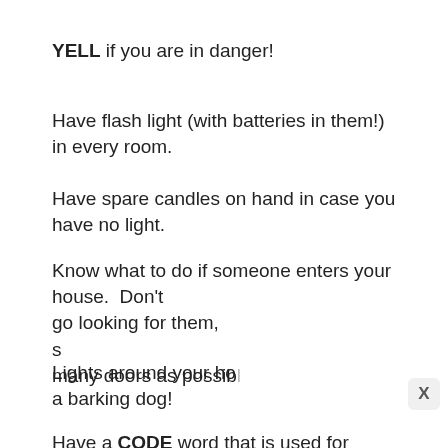YELL if you are in danger!
Have flash light (with batteries in them!) in every room.
Have spare candles on hand in case you have no light.
Know what to do if someone enters your house.  Don't go looking for them, s[tay calm, put barriers between you and] many doors as possib[le]
Lights around your ho[use are a deterrent as is] a barking dog!
Have a CODE word that is used for emergencies ONLY!!! It's your GO TO word that you can say in an